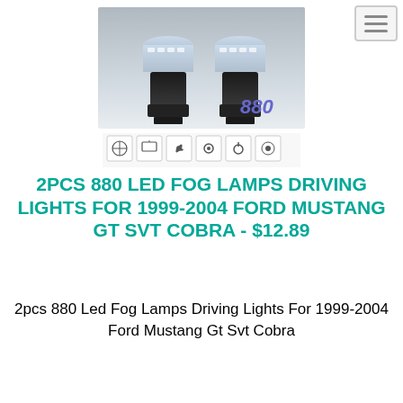[Figure (photo): Product photo of two 880 LED fog lamp bulbs with feature icons below, and '880' text in purple on the image]
2PCS 880 LED FOG LAMPS DRIVING LIGHTS FOR 1999-2004 FORD MUSTANG GT SVT COBRA - $12.89
2pcs 880 Led Fog Lamps Driving Lights For 1999-2004 Ford Mustang Gt Svt Cobra